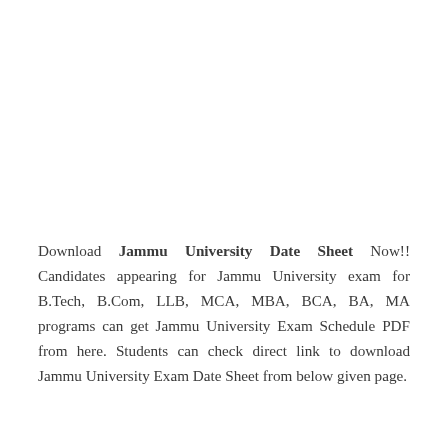Download Jammu University Date Sheet Now!! Candidates appearing for Jammu University exam for B.Tech, B.Com, LLB, MCA, MBA, BCA, BA, MA programs can get Jammu University Exam Schedule PDF from here. Students can check direct link to download Jammu University Exam Date Sheet from below given page.